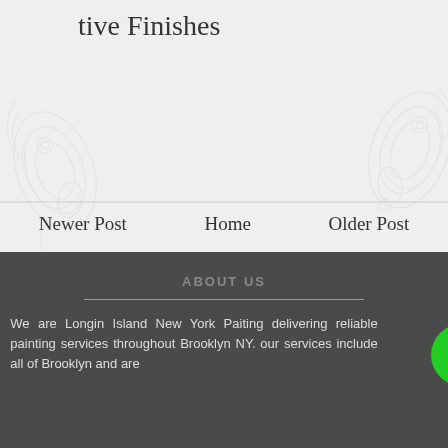tive Finishes
Newer Post   Home   Older Post
ABOUT US
We are Longin Island New York Paiting delivering reliable painting services throughout Brooklyn NY. our services include all of Brooklyn and are